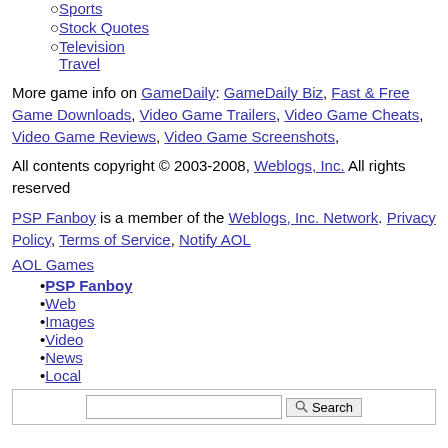Sports
Stock Quotes
Television Travel
More game info on GameDaily: GameDaily Biz, Fast & Free Game Downloads, Video Game Trailers, Video Game Cheats, Video Game Reviews, Video Game Screenshots,
All contents copyright © 2003-2008, Weblogs, Inc. All rights reserved
PSP Fanboy is a member of the Weblogs, Inc. Network. Privacy Policy, Terms of Service, Notify AOL
AOL Games
PSP Fanboy
Web
Images
Video
News
Local